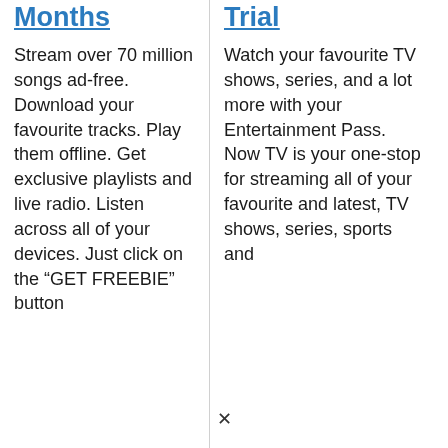Months
Stream over 70 million songs ad-free. Download your favourite tracks. Play them offline. Get exclusive playlists and live radio. Listen across all of your devices. Just click on the “GET FREEBIE” button
Trial
Watch your favourite TV shows, series, and a lot more with your Entertainment Pass. Now TV is your one-stop for streaming all of your favourite and latest, TV shows, series, sports and